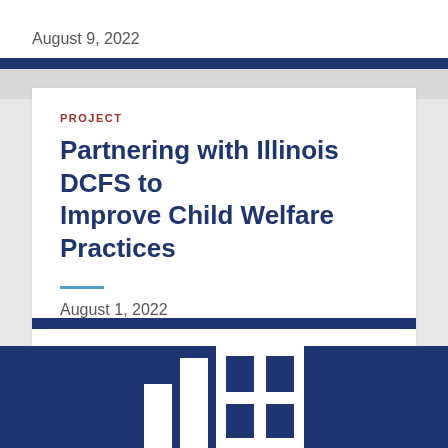August 9, 2022
PROJECT
Partnering with Illinois DCFS to Improve Child Welfare Practices
August 1, 2022
[Figure (logo): Organization logo mark — stylized bar chart bars with a square bracket 'H' shape, white on dark navy background]